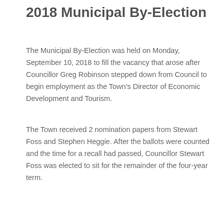2018 Municipal By-Election
The Municipal By-Election was held on Monday, September 10, 2018 to fill the vacancy that arose after Councillor Greg Robinson stepped down from Council to begin employment as the Town's Director of Economic Development and Tourism.
The Town received 2 nomination papers from Stewart Foss and Stephen Heggie. After the ballots were counted and the time for a recall had passed, Councillor Stewart Foss was elected to sit for the remainder of the four-year term.